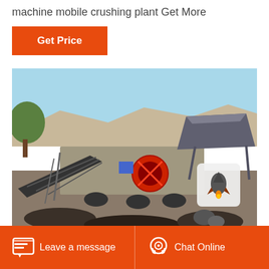machine mobile crushing plant Get More
[Figure (photo): Mobile crushing plant machine outdoors at a quarry/construction site. Heavy industrial machinery with conveyor belts, crusher unit with red circular elements, and a hopper on the right. Trees visible in background on left, rocky terrain in foreground. A small rocket/notification icon overlay appears in the top-right of the image.]
Leave a message   Chat Online